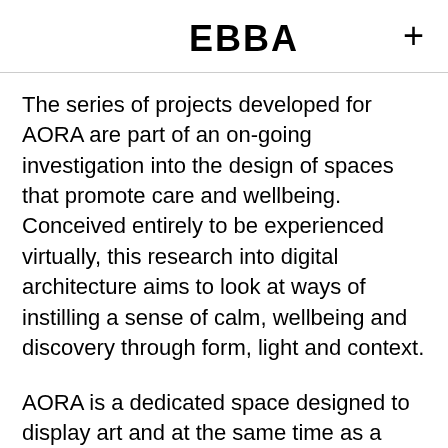EBBA +
The series of projects developed for AORA are part of an on-going investigation into the design of spaces that promote care and wellbeing. Conceived entirely to be experienced virtually, this research into digital architecture aims to look at ways of instilling a sense of calm, wellbeing and discovery through form, light and context.
AORA is a dedicated space designed to display art and at the same time as a